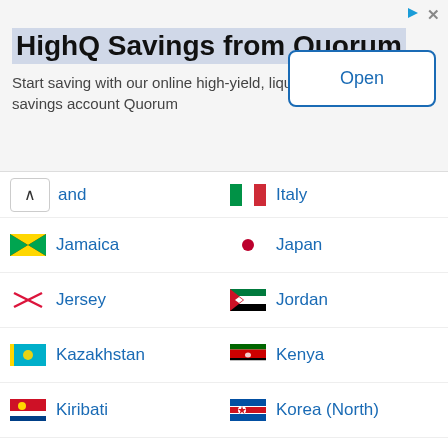[Figure (other): Advertisement banner for HighQ Savings from Quorum with Open button]
and | Italy
Jamaica | Japan
Jersey | Jordan
Kazakhstan | Kenya
Kiribati | Korea (North)
Korea (South) | Kuwait
Kyrgyzstan | Laos
Latvia | Lebanon
Lesotho | Liberia